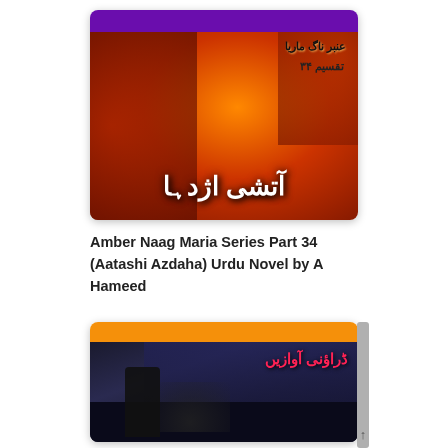[Figure (illustration): Book cover for Amber Naag Maria Series Part 34 (Aatashi Azdaha) - orange/red fiery background with a demon/dragon creature, purple header bar at top, Urdu text title in white bold letters]
Amber Naag Maria Series Part 34 (Aatashi Azdaha) Urdu Novel by A Hameed
[Figure (illustration): Second book cover with orange header bar, dark city background with a dark figure/character and creature, Urdu text in pink/red at top right]